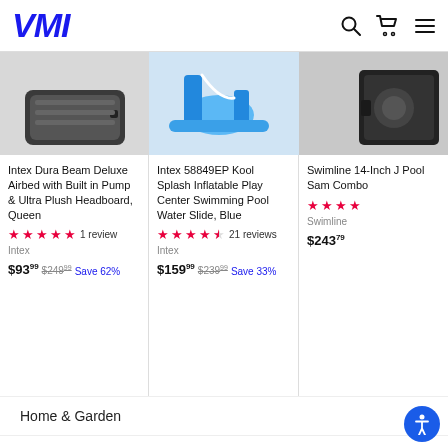VMI
[Figure (screenshot): Product card: Intex Dura Beam Deluxe Airbed with Built in Pump & Ultra Plush Headboard, Queen - image of dark grey airbed]
Intex Dura Beam Deluxe Airbed with Built in Pump & Ultra Plush Headboard, Queen
★★★★★ 1 review
Intex
$93.99 $249.99 Save 62%
[Figure (screenshot): Product card: Intex 58849EP Kool Splash Inflatable Play Center Swimming Pool Water Slide, Blue - image of blue inflatable water slide]
Intex 58849EP Kool Splash Inflatable Play Center Swimming Pool Water Slide, Blue
★★★★½ 21 reviews
Intex
$159.99 $239.99 Save 33%
[Figure (screenshot): Product card: Swimline 14-Inch Pool Sand Combo - partial image of black pool equipment]
Swimline 14-Inch Pool Sand Combo
★★★★
Swimline
$243.79
Home & Garden
Sports & Outdoors